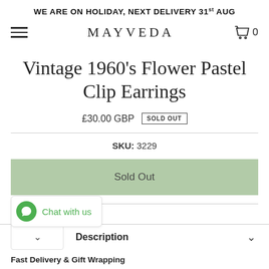WE ARE ON HOLIDAY, NEXT DELIVERY 31st AUG
MAYVEDA
Vintage 1960's Flower Pastel Clip Earrings
£30.00 GBP  SOLD OUT
SKU: 3229
Sold Out
Chat with us
Description
Fast Delivery & Gift Wrapping